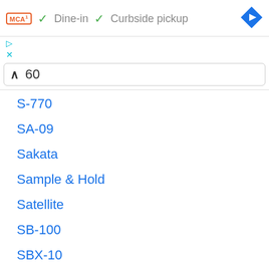[Figure (screenshot): McDonald's logo icon with orange border]
✓ Dine-in   ✓ Curbside pickup
[Figure (other): Blue navigation turn-right diamond icon]
▷
✕
∧  60
S-770
SA-09
Sakata
Sample & Hold
Satellite
SB-100
SBX-10
SBX-80
Schulmerich
SD-1